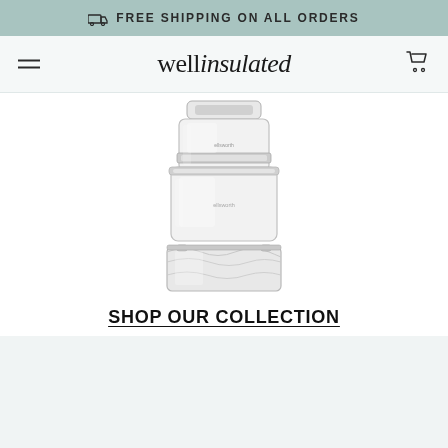FREE SHIPPING ON ALL ORDERS
[Figure (logo): wellinsulated brand logo in handwritten/script style]
[Figure (photo): Three insulated food storage containers stacked/arranged: two square glass containers with lids and one flat insulated bag, all in silver/clear metallic style]
SHOP OUR COLLECTION